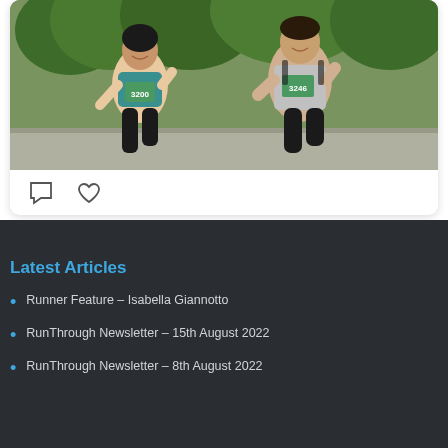[Figure (photo): Two runners in a race wearing bibs numbered 3200 (woman in teal sports top) and 3246 (man in grey shirt), running outdoors with trees in background]
Latest Articles
Runner Feature – Isabella Giannotto
RunThrough Newsletter – 15th August 2022
RunThrough Newsletter – 8th August 2022